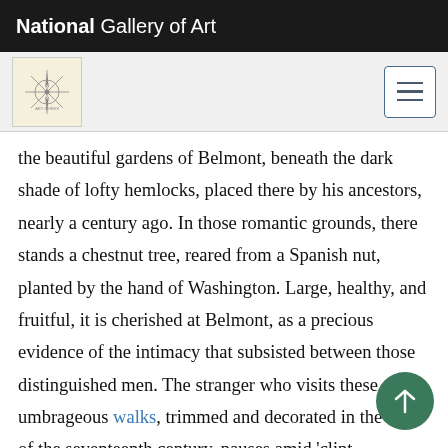National Gallery of Art
the beautiful gardens of Belmont, beneath the dark shade of lofty hemlocks, placed there by his ancestors, nearly a century ago. In those romantic grounds, there stands a chestnut tree, reared from a Spanish nut, planted by the hand of Washington. Large, healthy, and fruitful, it is cherished at Belmont, as a precious evidence of the intimacy that subsisted between those distinguished men. The stranger who visits these umbrageous walks, trimmed and decorated in the style of the seventeenth century, pauses amid 'clipt hedg[e] pyramids, obelisks, and balls,' formed by the